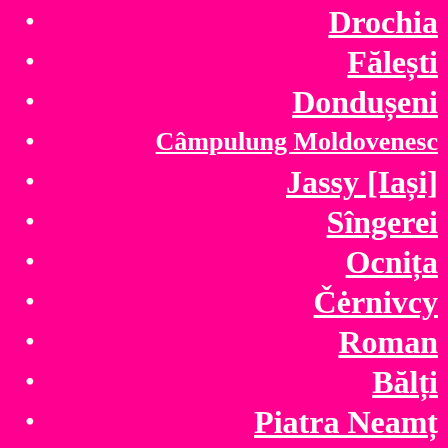Drochia
Fălești
Dondușeni
Câmpulung Moldovenesc
Jassy [Iași]
Sîngerei
Ocnița
Čėrnivcy
Roman
Bălți
Piatra Neamț